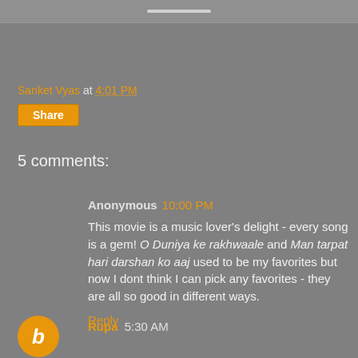Sanket Vyas at 4:01 PM
Share
5 comments:
Anonymous 10:00 PM
This movie is a music lover's delight - every song is a gem! O Duniya ke rakhwaale and Man tarpat hari darshan ko aaj used to be my favorites but now I dont think I can pick any favorites - they are all so good in different ways.
Reply
Rupa 5:30 AM